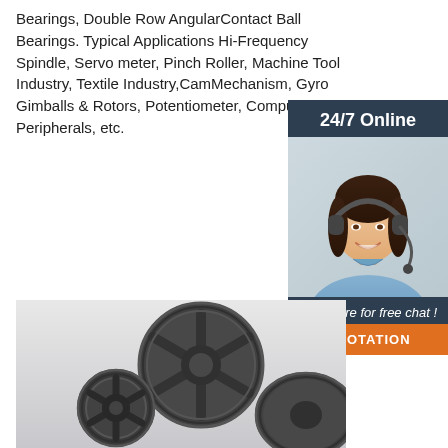Bearings, Double Row AngularContact Ball Bearings. Typical Applications Hi-Frequency Spindle, Servo meter, Pinch Roller, Machine Tool Industry, Textile Industry,CamMechanism, Gyro Gimballs & Rotors, Potentiometer, Computer Peripherals, etc.
[Figure (other): Get Price orange button]
[Figure (other): Sidebar with 24/7 Online label, photo of woman with headset, 'Click here for free chat!' text, and QUOTATION orange button]
[Figure (photo): Photo of industrial belt pulleys/sheaves, dark metal, multiple sizes grouped together on light background]